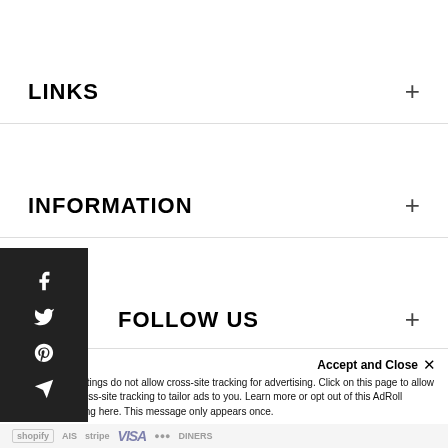LINKS
INFORMATION
FOLLOW US
[Figure (logo): No Jumper basketball logo — orange circle with text]
© No Jumper 2022. All Rights Reserved
Accept and Close ×
Your browser settings do not allow cross-site tracking for advertising. Click on this page to allow AdRoll to use cross-site tracking to tailor ads to you. Learn more or opt out of this AdRoll tracking by clicking here. This message only appears once.